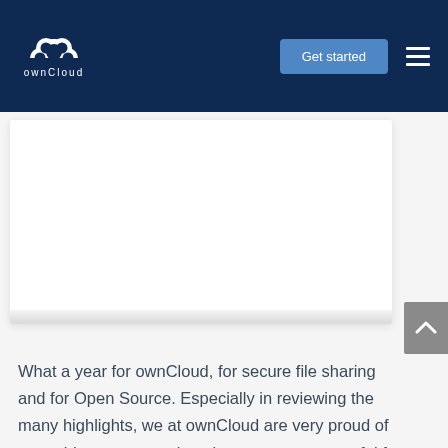[Figure (logo): ownCloud logo with cloud icon and text on dark navy navigation bar, alongside a 'Get started' button and hamburger menu]
[Figure (screenshot): White content card with drop shadow on light gray background]
What a year for ownCloud, for secure file sharing and for Open Source. Especially in reviewing the many highlights, we at ownCloud are very proud of our achievements to date, but even more grateful for one of the strongest communities with many